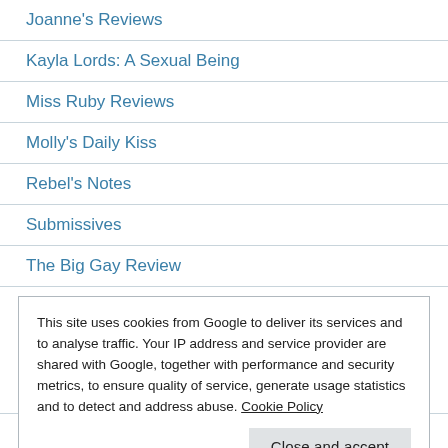Joanne's Reviews
Kayla Lords: A Sexual Being
Miss Ruby Reviews
Molly's Daily Kiss
Rebel's Notes
Submissives
The Big Gay Review
This site uses cookies from Google to deliver its services and to analyse traffic. Your IP address and service provider are shared with Google, together with performance and security metrics, to ensure quality of service, generate usage statistics and to detect and address abuse. Cookie Policy
[e]Just